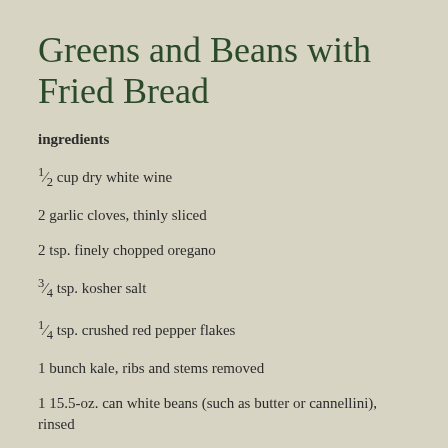Greens and Beans with Fried Bread
ingredients
½ cup dry white wine
2 garlic cloves, thinly sliced
2 tsp. finely chopped oregano
¾ tsp. kosher salt
¼ tsp. crushed red pepper flakes
1 bunch kale, ribs and stems removed
1 15.5-oz. can white beans (such as butter or cannellini), rinsed